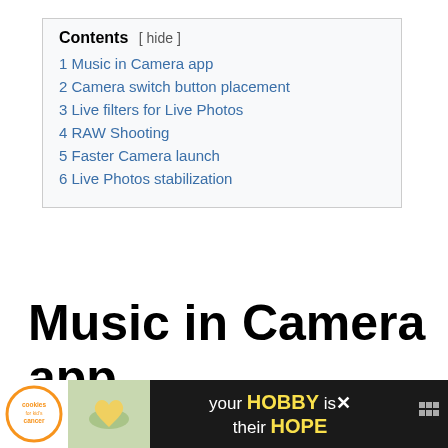Contents
1 Music in Camera app
2 Camera switch button placement
3 Live filters for Live Photos
4 RAW Shooting
5 Faster Camera launch
6 Live Photos stabilization
Music in Camera app
Right now whenever you launch the camera app
[Figure (screenshot): Advertisement banner for 'cookies for kid's cancer' charity with text 'your HOBBY is their HOPE']